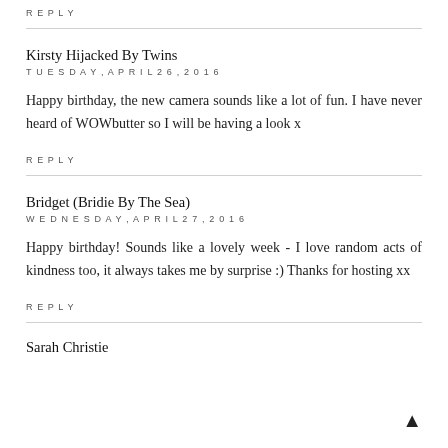REPLY
Kirsty Hijacked By Twins
TUESDAY, APRIL 26, 2016
Happy birthday, the new camera sounds like a lot of fun. I have never heard of WOWbutter so I will be having a look x
REPLY
Bridget (Bridie By The Sea)
WEDNESDAY, APRIL 27, 2016
Happy birthday! Sounds like a lovely week - I love random acts of kindness too, it always takes me by surprise :) Thanks for hosting xx
REPLY
Sarah Christie